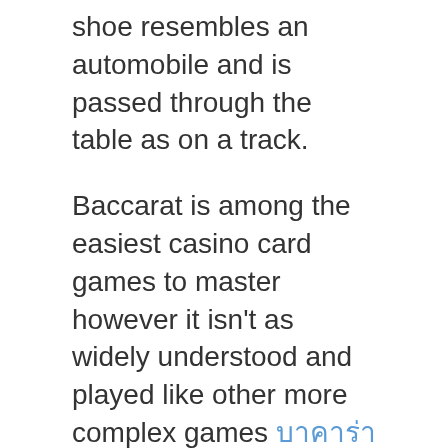shoe resembles an automobile and is passed through the table as on a track.
Baccarat is among the easiest casino card games to master however it isn't as widely understood and played like other more complex games บาคาร่า throughout the world. It is possible that newcomers seek out advice on baccarat because they think of the game as complicated or challenging. This perception could be due to the glare of the game that is usually played in high-end casinos where bright lights and massive bets are often a draw for crowds to enjoy the game.
However, mini-baccarat and online versions of the game have now made this game